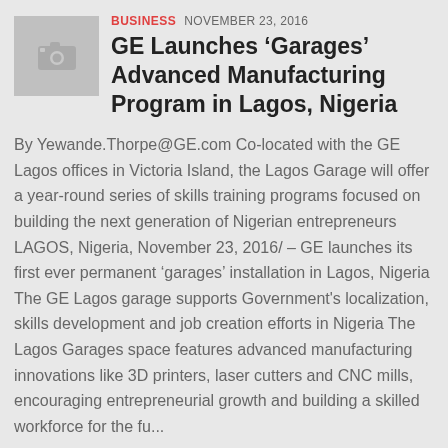[Figure (photo): Camera/image placeholder thumbnail in grey square]
BUSINESS NOVEMBER 23, 2016
GE Launches ‘Garages’ Advanced Manufacturing Program in Lagos, Nigeria
By Yewande.Thorpe@GE.com Co-located with the GE Lagos offices in Victoria Island, the Lagos Garage will offer a year-round series of skills training programs focused on building the next generation of Nigerian entrepreneurs LAGOS, Nigeria, November 23, 2016/ – GE launches its first ever permanent ‘garages’ installation in Lagos, Nigeria The GE Lagos garage supports Government's localization, skills development and job creation efforts in Nigeria The Lagos Garages space features advanced manufacturing innovations like 3D printers, laser cutters and CNC mills, encouraging entrepreneurial growth and building a skilled workforce for the fu...